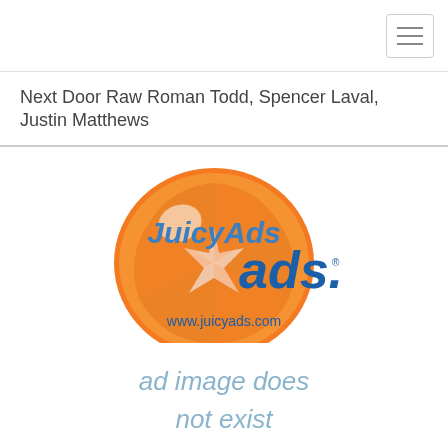[Figure (logo): Hamburger menu icon (three horizontal lines) in a rounded rectangle button, top right corner of the navigation bar]
Next Door Raw Roman Todd, Spencer Laval, Justin Matthews
[Figure (logo): JuicyAds logo with orange citrus graphic and blue stylized 'ads.' text, www.juicyads.com URL below]
[Figure (other): Placeholder image with text 'ad image does not exist' in light blue/grey italic text]